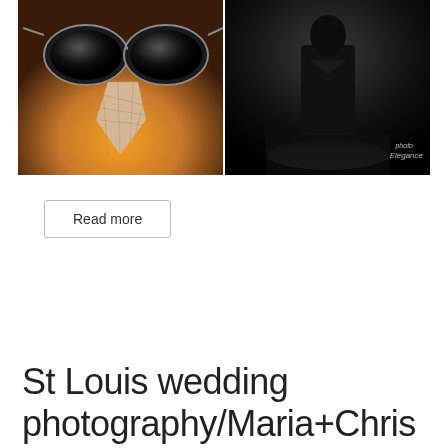[Figure (photo): Two wedding photos side by side: left photo shows sunglasses and a tie on a warm golden-brown surface; right photo shows a man in a dark suit standing dramatically in a dark room with a 'photo Elegance' watermark]
Read more
St Louis wedding photography/Maria+Chris